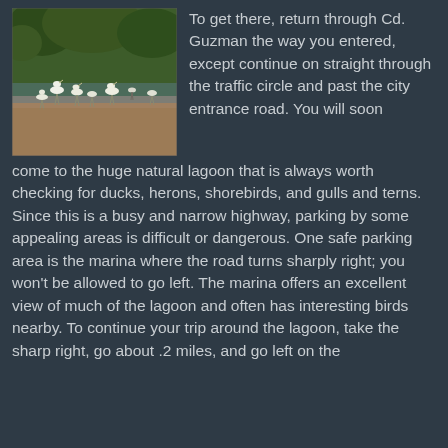[Figure (photo): Photograph of white egrets/herons gathered along a dirt path near a lagoon or waterway, with green vegetation in the background.]
To get there, return through Cd. Guzman the way you entered, except continue on straight through the traffic circle and past the city entrance road. You will soon come to the huge natural lagoon that is always worth checking for ducks, herons, shorebirds, and gulls and terns. Since this is a busy and narrow highway, parking by some appealing areas is difficult or dangerous. One safe parking area is the marina where the road turns sharply right; you won't be allowed to go left. The marina offers an excellent view of much of the lagoon and often has interesting birds nearby. To continue your trip around the lagoon, take the sharp right, go about .2 miles, and go left on the